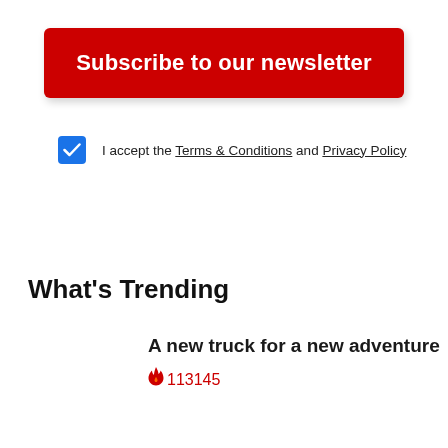Subscribe to our newsletter
I accept the Terms & Conditions and Privacy Policy
What's Trending
A new truck for a new adventure
🔥 113145